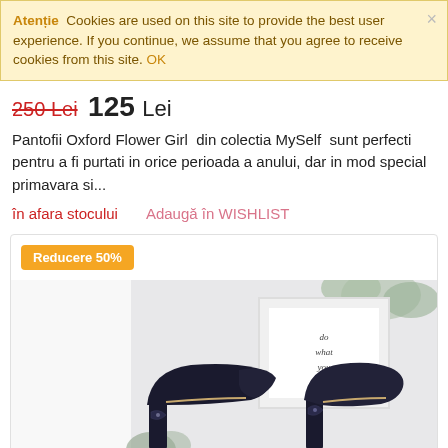Atenție  Cookies are used on this site to provide the best user experience. If you continue, we assume that you agree to receive cookies from this site. OK
250 Lei 125 Lei
Pantofii Oxford Flower Girl  din colectia MySelf  sunt perfecti pentru a fi purtati in orice perioada a anului, dar in mod special primavara si...
în afara stocului    Adaugă în WISHLIST
[Figure (photo): Product card showing a pair of dark navy/black high-heel pumps with embroidered detail on the heel, displayed against a background with a framed 'do what you love' print and eucalyptus leaves. An orange badge reads 'Reducere 50%'.]